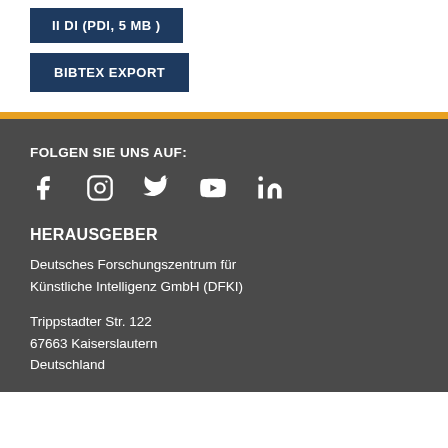[Figure (other): Dark blue button labeled 'II DI (PDI, 5 MB)' partially visible at top]
[Figure (other): Dark blue button labeled 'BIBTEX EXPORT']
FOLGEN SIE UNS AUF:
[Figure (other): Social media icons: Facebook, Instagram, Twitter, YouTube, LinkedIn]
HERAUSGEBER
Deutsches Forschungszentrum für Künstliche Intelligenz GmbH (DFKI)
Trippstadter Str. 122
67663 Kaiserslautern
Deutschland